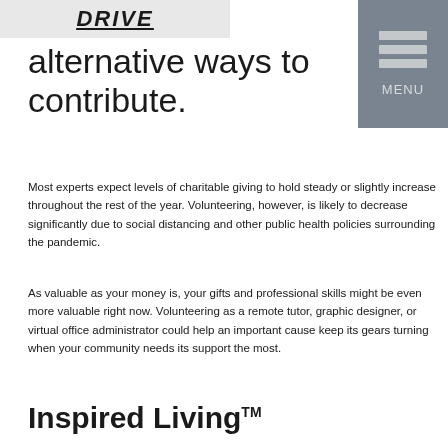[Figure (photo): Partial image showing bold italic underlined text 'DRIVE' on a light background]
[Figure (other): Menu navigation block with three horizontal bars and 'MENU' label on grey background]
alternative ways to contribute.
Most experts expect levels of charitable giving to hold steady or slightly increase throughout the rest of the year. Volunteering, however, is likely to decrease significantly due to social distancing and other public health policies surrounding the pandemic.
As valuable as your money is, your gifts and professional skills might be even more valuable right now. Volunteering as a remote tutor, graphic designer, or virtual office administrator could help an important cause keep its gears turning when your community needs its support the most.
Inspired Living™